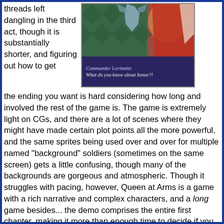threads left dangling in the third act, though it is substantially shorter, and figuring out how to get
[Figure (screenshot): Game screenshot showing Commander Lorimette character with dialogue 'What do you know about honor?!' on a dark purple/navy background panel, with colorful character sprites above.]
the ending you want is hard considering how long and involved the rest of the game is. The game is extremely light on CGs, and there are a lot of scenes where they might have made certain plot points all the more powerful, and the same sprites being used over and over for multiple named "background" soldiers (sometimes on the same screen) gets a little confusing, though many of the backgrounds are gorgeous and atmospheric. Though it struggles with pacing, however, Queen at Arms is a game with a rich narrative and complex characters, and a long game besides... the demo comprises the entire first chapter, making it more than enough time to decide if you want more. If you want a meaty visual novel that'll give you cause to come back to it again and again, Queen at